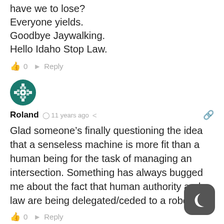have we to lose?
Everyone yields.
Goodbye Jaywalking.
Hello Idaho Stop Law.
👍 0  ➤ Reply
[Figure (illustration): Round avatar with teal/green geometric snowflake pattern on dark green background]
Roland  🕐 11 years ago  🔗 Reply
Glad someone's finally questioning the idea that a senseless machine is more fit than a human being for the task of managing an intersection. Something has always bugged me about the fact that human authority and law are being delegated/ceded to a robot.
👍 0  ➤ Reply
[Figure (illustration): Partial round avatar at the bottom of the page]
[Figure (illustration): Dark rounded square button with crescent moon icon (night mode toggle) in bottom-right corner]